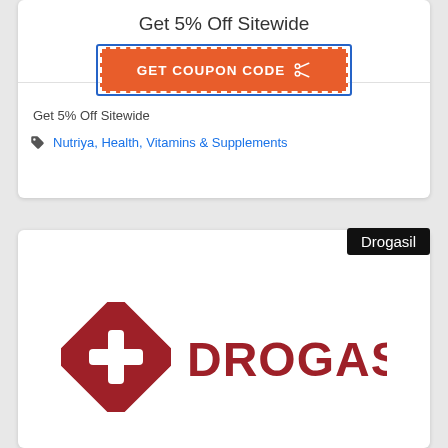Get 5% Off Sitewide
[Figure (other): Orange GET COUPON CODE button with dashed white border inside a blue border rectangle]
Get 5% Off Sitewide
🏷 Nutriya, Health, Vitamins & Supplements
Drogasil
[Figure (logo): Drogasil logo: red diamond shape with a white plus sign, and text DROGASIL in bold red letters]